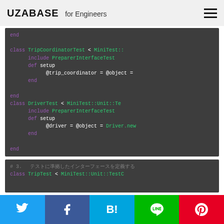UZABASE for Engineers
[Figure (screenshot): Code block showing Ruby test classes: TripCoordinatorTest and DriverTest, with class definitions, include PreparerInterfaceTest, def setup, and instance variable assignments.]
[Figure (screenshot): Code block showing start of section # 3 and beginning of class TripTest < MiniTest::Unit::TestC]
Social share buttons: Twitter, Facebook, Hatena Bookmark, LINE, Pinterest